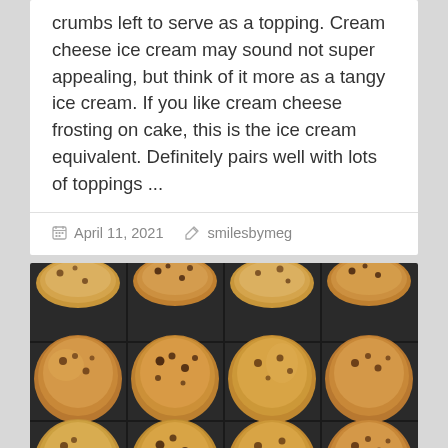crumbs left to serve as a topping. Cream cheese ice cream may sound not super appealing, but think of it more as a tangy ice cream. If you like cream cheese frosting on cake, this is the ice cream equivalent. Definitely pairs well with lots of toppings ...
April 11, 2021   smilesbymeg
[Figure (photo): Overhead view of a muffin tin filled with baked chocolate chip muffins arranged in a 3x4 grid pattern. The muffins are golden-brown and sit in paper liners inside a metal baking pan.]